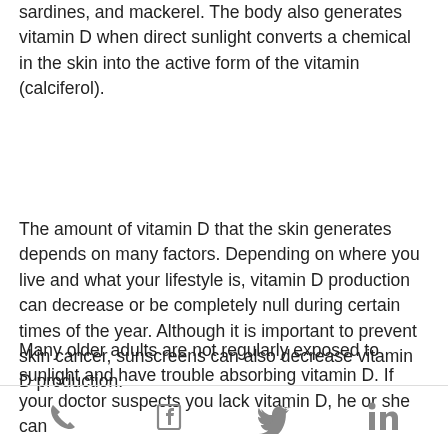sardines, and mackerel. The body also generates vitamin D when direct sunlight converts a chemical in the skin into the active form of the vitamin (calciferol).
The amount of vitamin D that the skin generates depends on many factors. Depending on where you live and what your lifestyle is, vitamin D production can decrease or be completely null during certain times of the year. Although it is important to prevent skin cancer, sunscreens can also decrease vitamin D production.
Many older adults are not regularly exposed to sunlight and have trouble absorbing vitamin D. If your doctor suspects you lack vitamin D, he or she can
phone, facebook, twitter, linkedin icons